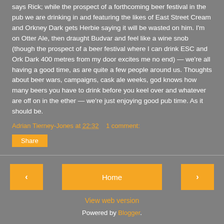says Rick; while the prospect of a forthcoming beer festival in the pub we are drinking in and featuring the likes of East Street Cream and Orkney Dark gets Herbie saying it will be wasted on him. I'm on Otter Ale, then draught Budvar and feel like a wine snob (though the prospect of a beer festival where I can drink ESC and Ork Dark 400 metres from my door excites me no end) — we're all having a good time, as are quite a few people around us. Thoughts about beer wars, campaigns, cask ale weeks, god knows how many beers you have to drink before you keel over and whatever are off on in the ether — we're just enjoying good pub time. As it should be.
Adrian Tierney-Jones at 22:32   1 comment:
Share
‹  Home  ›  View web version  Powered by Blogger.